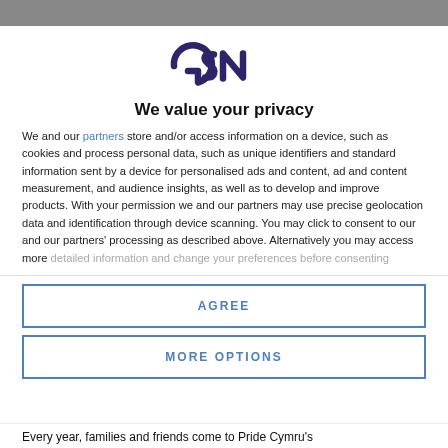[Figure (logo): GSN logo in dark navy/purple stylized lettering]
We value your privacy
We and our partners store and/or access information on a device, such as cookies and process personal data, such as unique identifiers and standard information sent by a device for personalised ads and content, ad and content measurement, and audience insights, as well as to develop and improve products. With your permission we and our partners may use precise geolocation data and identification through device scanning. You may click to consent to our and our partners' processing as described above. Alternatively you may access more detailed information and change your preferences before consenting
AGREE
MORE OPTIONS
Every year, families and friends come to Pride Cymru's